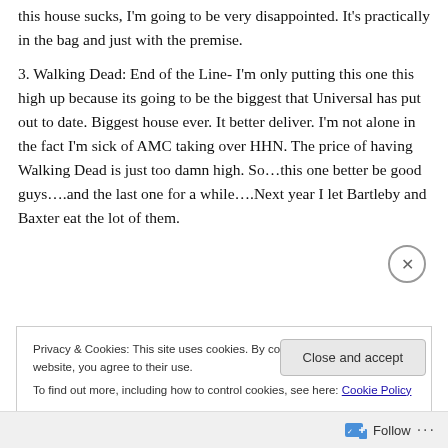this house sucks, I'm going to be very disappointed. It's practically in the bag and just with the premise.
3. Walking Dead: End of the Line- I'm only putting this one this high up because its going to be the biggest that Universal has put out to date. Biggest house ever. It better deliver. I'm not alone in the fact I'm sick of AMC taking over HHN. The price of having Walking Dead is just too damn high. So…this one better be good guys….and the last one for a while….Next year I let Bartleby and Baxter eat the lot of them.
Privacy & Cookies: This site uses cookies. By continuing to use this website, you agree to their use.
To find out more, including how to control cookies, see here: Cookie Policy
Close and accept
Follow ···